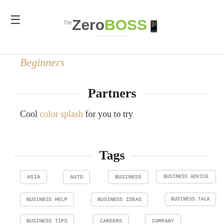The ZeroBoss
Beginners
Partners
Cool color splash for you to try
Tags
ASIA
AUTO
BUSINESS
BUSINESS ADVICE
BUSINESS HELP
BUSINESS IDEAS
BUSINESS TALK
BUSINESS TIPS
CAREERS
COMPANY
DIGITAL NOMAD
EDUCATION
ENTERTAINMENT